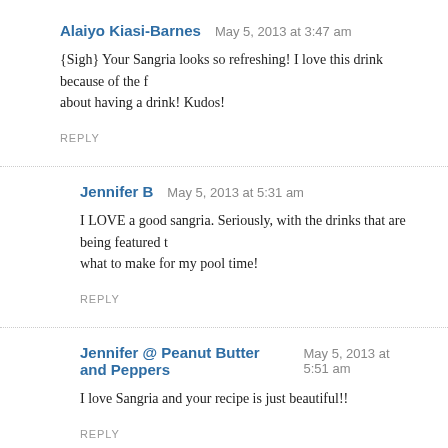Alaiyo Kiasi-Barnes   May 5, 2013 at 3:47 am
{Sigh} Your Sangria looks so refreshing! I love this drink because of the f… about having a drink! Kudos!
REPLY
Jennifer B   May 5, 2013 at 5:31 am
I LOVE a good sangria. Seriously, with the drinks that are being featured t… what to make for my pool time!
REPLY
Jennifer @ Peanut Butter and Peppers   May 5, 2013 at 5:51 am
I love Sangria and your recipe is just beautiful!!
REPLY